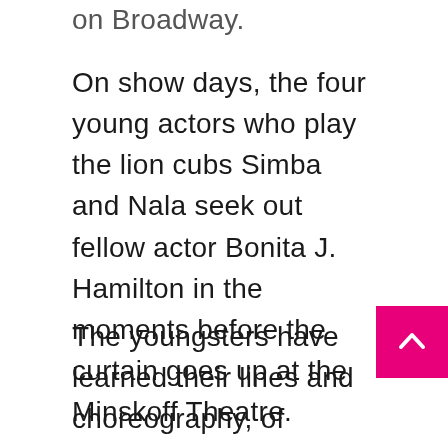on Broadway.
On show days, the four young actors who play the lion cubs Simba and Nala seek out fellow actor Bonita J. Hamilton in the moments before the curtain goes up at the Minskoff Theatre.
The youngsters have learned their lines and choreography, of course, but during Black History Month, they also tell Hamilton what they’ve learned about a Black historical figure. It might include a birthdate, the figure’s biggest achievements and some facts about their